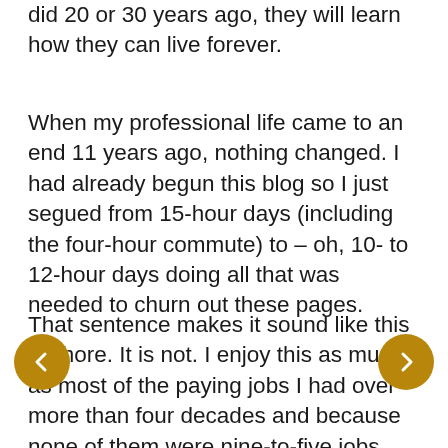did 20 or 30 years ago, they will learn how they can live forever.
When my professional life came to an end 11 years ago, nothing changed. I had already begun this blog so I just segued from 15-hour days (including the four-hour commute) to – oh, 10- to 12-hour days doing all that was needed to churn out these pages.
That sentence makes it sound like this is chore. It is not. I enjoy this as much as most of the paying jobs I had over more than four decades and because none of them were nine-to-five jobs,